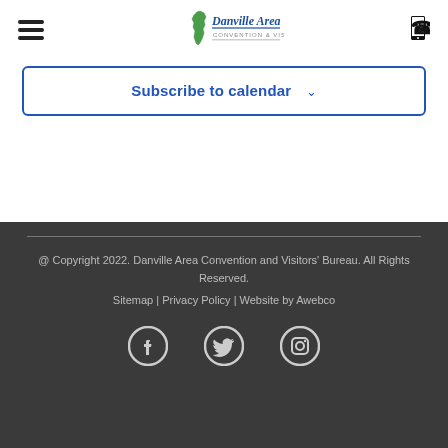Danville Area (logo) | hamburger menu | phone icon
Subscribe to calendar
@ Copyright 2022. Danville Area Convention and Visitors' Bureau. All Rights Reserved. Sitemap | Privacy Policy | Website by Awebco
[Figure (logo): Social media icons: Facebook, Twitter, Instagram]